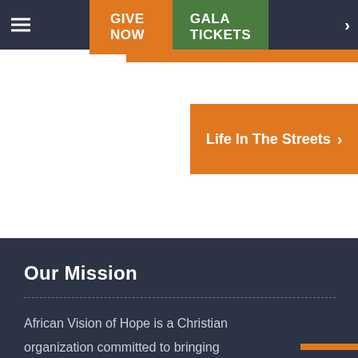GIVE NOW | GALA TICKETS
[Figure (screenshot): Orange button labeled 'Life In The Streets' with a right arrow chevron]
Our Mission
African Vision of Hope is a Christian organization committed to bringing immediate and lasting solutions to children and families living in extreme poverty. We confront the root causes of